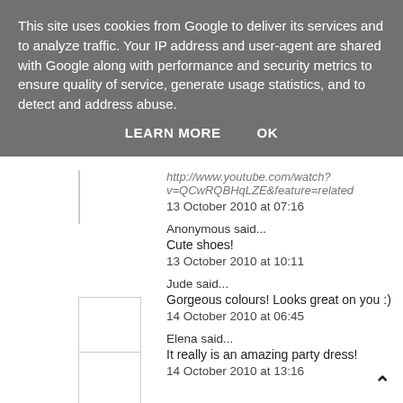This site uses cookies from Google to deliver its services and to analyze traffic. Your IP address and user-agent are shared with Google along with performance and security metrics to ensure quality of service, generate usage statistics, and to detect and address abuse.
LEARN MORE    OK
v=QCwRQBHqLZE&feature=related
13 October 2010 at 07:16
Anonymous said...
Cute shoes!
13 October 2010 at 10:11
Jude said...
Gorgeous colours! Looks great on you :)
14 October 2010 at 06:45
Elena said...
It really is an amazing party dress!
14 October 2010 at 13:16